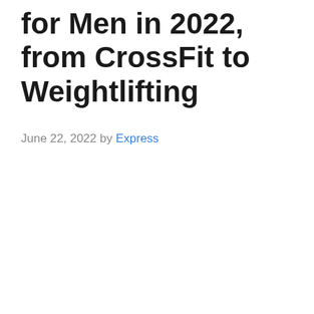for Men in 2022, from CrossFit to Weightlifting
June 22, 2022 by Express